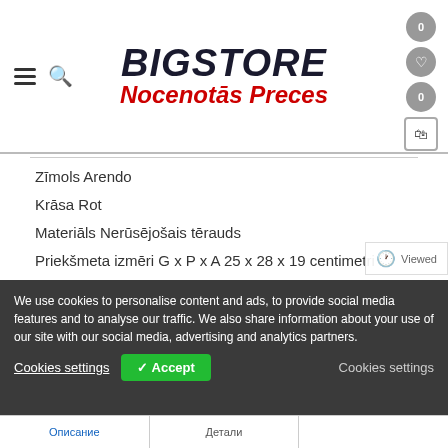BIGSTORE Nocenotās Preces
Zīmols Arendo
Krāsa Rot
Materiāls Nerūsējošais tērauds
Priekšmeta izmēri G x P x A 25 x 28 x 19 centimetri
Preces svars 2,15 kilogrami
В КОРЗИНУ
Add to Wishlist
Share it:
We use cookies to personalise content and ads, to provide social media features and to analyse our traffic. We also share information about your use of our site with our social media, advertising and analytics partners.
Cookies settings
✓ Accept
Cookies settings
Описание
Детали